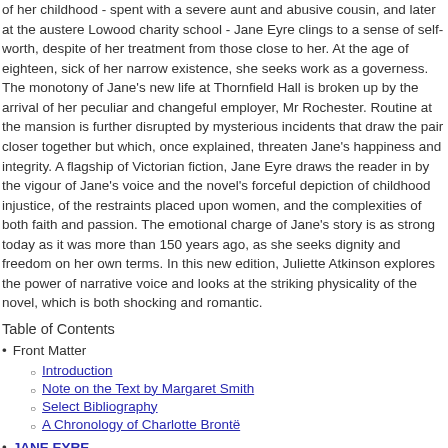of her childhood - spent with a severe aunt and abusive cousin, and later at the austere Lowood charity school - Jane Eyre clings to a sense of self-worth, despite of her treatment from those close to her. At the age of eighteen, sick of her narrow existence, she seeks work as a governess. The monotony of Jane's new life at Thornfield Hall is broken up by the arrival of her peculiar and changeful employer, Mr Rochester. Routine at the mansion is further disrupted by mysterious incidents that draw the pair closer together but which, once explained, threaten Jane's happiness and integrity. A flagship of Victorian fiction, Jane Eyre draws the reader in by the vigour of Jane's voice and the novel's forceful depiction of childhood injustice, of the restraints placed upon women, and the complexities of both faith and passion. The emotional charge of Jane's story is as strong today as it was more than 150 years ago, as she seeks dignity and freedom on her own terms. In this new edition, Juliette Atkinson explores the power of narrative voice and looks at the striking physicality of the novel, which is both shocking and romantic.
Table of Contents
Front Matter
Introduction
Note on the Text by Margaret Smith
Select Bibliography
A Chronology of Charlotte Brontë
JANE EYRE
Volume I
Chapter I